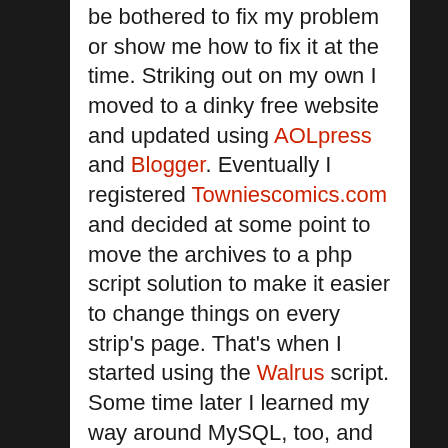be bothered to fix my problem or show me how to fix it at the time. Striking out on my own I moved to a dinky free website and updated using AOLpress and Blogger. Eventually I registered Towniescomics.com and decided at some point to move the archives to a php script solution to make it easier to change things on every strip's page. That's when I started using the Walrus script. Some time later I learned my way around MySQL, too, and moved to ATP Autosite. That got a little long in the tooth when web standards started getting brandied about. If you've tried looking for webcomic update scripts you know they have a habit of going undeveloped as time rolls on. Tyler Martin did us all a favor by rolling out